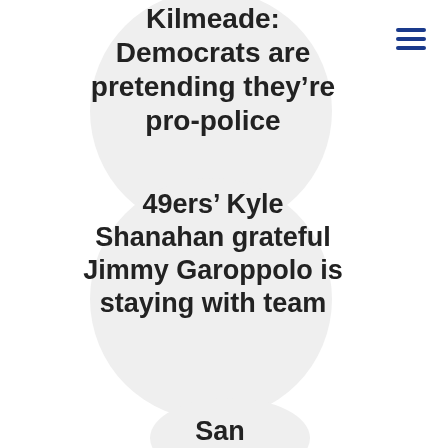[Figure (illustration): Circular gray badge/button with headline text inside: 'Kilmeade: Democrats are pretending they're pro-police']
Kilmeade: Democrats are pretending they’re pro-police
[Figure (illustration): Circular gray badge/button with headline text inside: '49ers’ Kyle Shanahan grateful Jimmy Garoppolo is staying with team']
49ers’ Kyle Shanahan grateful Jimmy Garoppolo is staying with team
[Figure (illustration): Partially visible circular gray badge at bottom of page with partial text 'San']
San